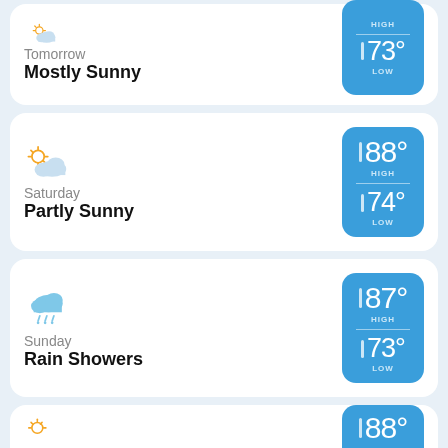[Figure (infographic): Partial weather card for Tomorrow: Mostly Sunny. Blue temp box shows HIGH and LOW 73°]
Tomorrow
Mostly Sunny
[Figure (infographic): Weather card for Saturday: Partly Sunny. Blue temp box shows HIGH 88° and LOW 74°]
Saturday
Partly Sunny
[Figure (infographic): Weather card for Sunday: Rain Showers. Blue temp box shows HIGH 87° and LOW 73°]
Sunday
Rain Showers
[Figure (infographic): Partial weather card for next day showing HIGH 88°]